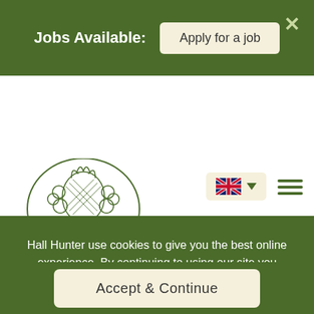Jobs Available:  Apply for a job
[Figure (logo): Hall Hunter Partnership logo with fruit illustration, established 1966]
Hall Hunter use cookies to give you the best online experience. By continuing to using our site you agree to the use of cookies. Cookie Policy
Accept & Continue